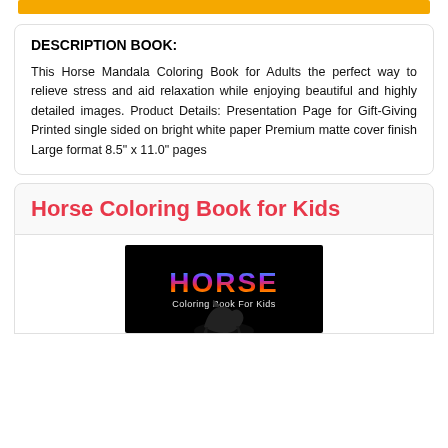[Figure (other): Yellow/gold button bar at top of page]
DESCRIPTION BOOK:
This Horse Mandala Coloring Book for Adults the perfect way to relieve stress and aid relaxation while enjoying beautiful and highly detailed images. Product Details: Presentation Page for Gift-Giving Printed single sided on bright white paper Premium matte cover finish Large format 8.5" x 11.0" pages
Horse Coloring Book for Kids
[Figure (photo): Book cover for Horse Coloring Book for Kids with colorful gradient HORSE text on black background with horse silhouette]